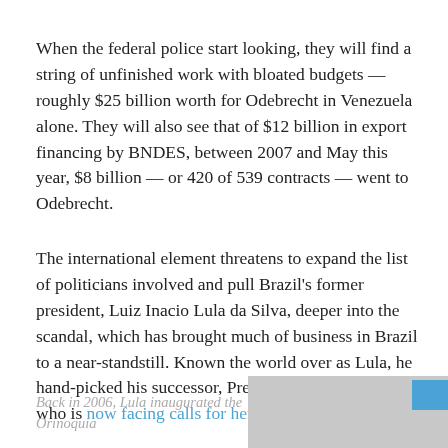When the federal police start looking, they will find a string of unfinished work with bloated budgets — roughly $25 billion worth for Odebrecht in Venezuela alone. They will also see that of $12 billion in export financing by BNDES, between 2007 and May this year, $8 billion — or 420 of 539 contracts — went to Odebrecht.
The international element threatens to expand the list of politicians involved and pull Brazil's former president, Luiz Inacio Lula da Silva, deeper into the scandal, which has brought much of business in Brazil to a near-standstill. Known the world over as Lula, he hand-picked his successor, President Dilma Rousseff, who is now facing calls for her impeachment.
Back in 2006, Lula inaugurated the Orinoquia